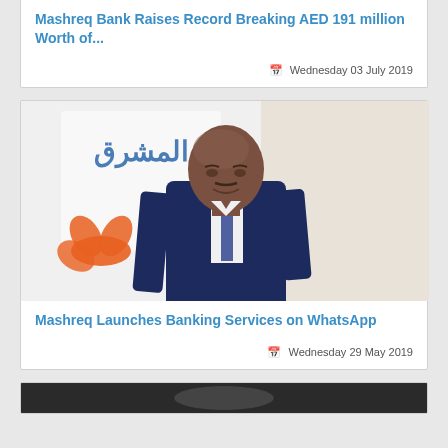Mashreq Bank Raises Record Breaking AED 191 million Worth of...
Wednesday 03 July 2019
[Figure (photo): Professional portrait of a man in a dark blue suit standing in front of the Mashreq Bank logo banner]
Mashreq Launches Banking Services on WhatsApp
Wednesday 29 May 2019
[Figure (photo): Partial view of another news item image at the bottom of the page]